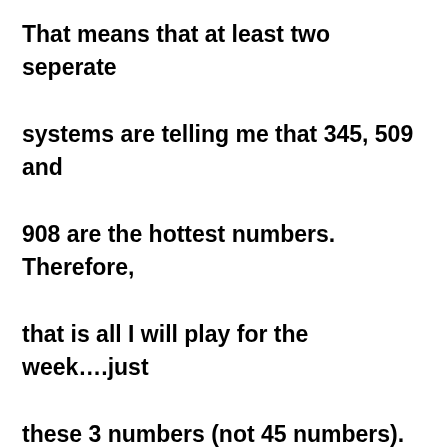That means that at least two seperate systems are telling me that 345, 509 and 908 are the hottest numbers. Therefore, that is all I will play for the week….just these 3 numbers (not 45 numbers).
So you see…having at least 3 REFERENCE POINTS (3 lists of numbers based on 3 different distributions) is